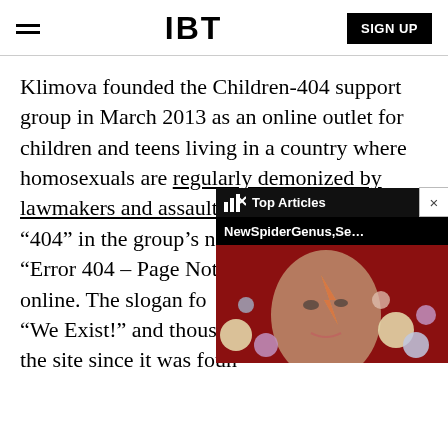IBT | SIGN UP
Klimova founded the Children-404 support group in March 2013 as an online outlet for children and teens living in a country where homosexuals are regularly demonized by lawmakers and assaulted in the streets. The "404" in the group's name is a play on the "Error 404 – Page Not Found" message found online. The slogan fo... to "We Exist!" and thousan... to the site since it was foun...
[Figure (screenshot): Overlay widget showing Top Articles panel with a thumbnail image of a Bowie-style face with colorful planets, title 'NewSpiderGenus,Se...' and a close button]